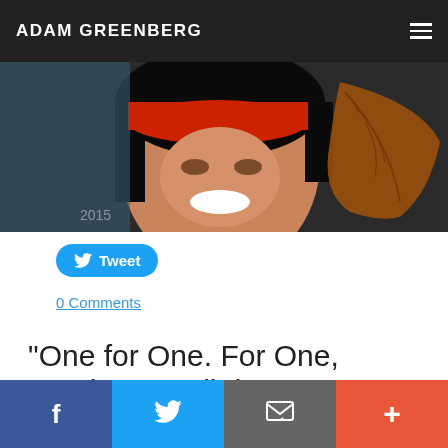ADAM GREENBERG
[Figure (photo): A smiling person wearing a red cap, with a brown leaf visible on the right side. Text '2015' visible in lower left.]
Tweet
0 Comments
"One for One. For One, Another." Well done, TOMS. Again.
f  [Twitter bird]  [Email icon]  +